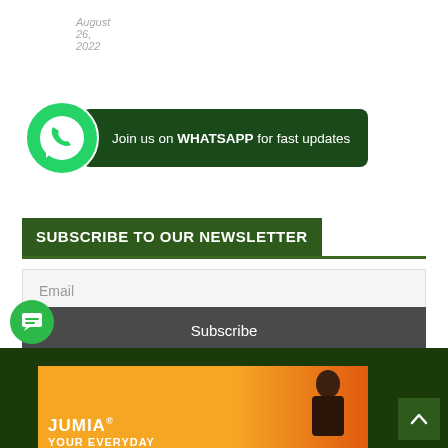August 26, 2022
[Figure (infographic): WhatsApp call-to-action banner with green WhatsApp phone icon on left and dark green pill-shaped button saying 'Join us on WHATSAPP for fast updates']
SUBSCRIBE TO OUR NEWSLETTER
Email
Subscribe
[Figure (infographic): Bottom dark green bar with Jumia orange/red banner advertisement showing a woman and Jumia logo text, a green circular chat button on lower left, and a dark green scroll-to-top arrow button on lower right]